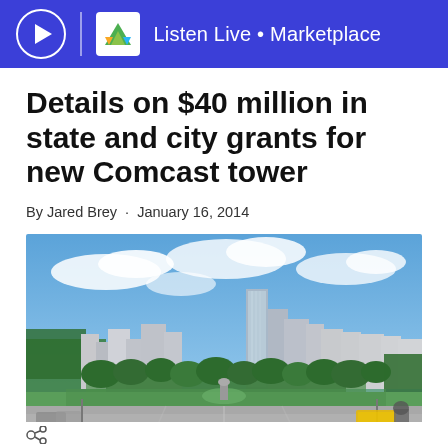Listen Live • Marketplace
Details on $40 million in state and city grants for new Comcast tower
By Jared Brey · January 16, 2014
[Figure (photo): Wide panoramic view of Philadelphia skyline with green parkway, trees, open plaza with pedestrians, and city skyscrapers under partly cloudy blue sky, likely showing the proposed Comcast tower among existing buildings.]